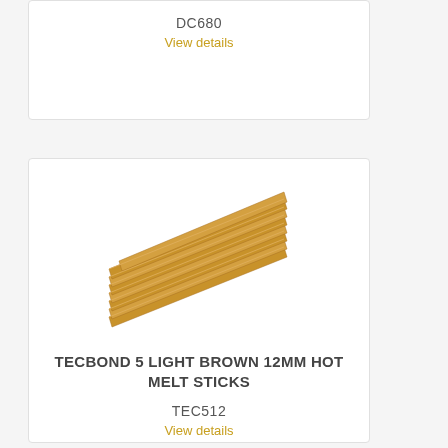DC680
View details
[Figure (photo): Stack of light brown hot melt glue sticks arranged diagonally]
TECBOND 5 LIGHT BROWN 12MM HOT MELT STICKS
TEC512
View details